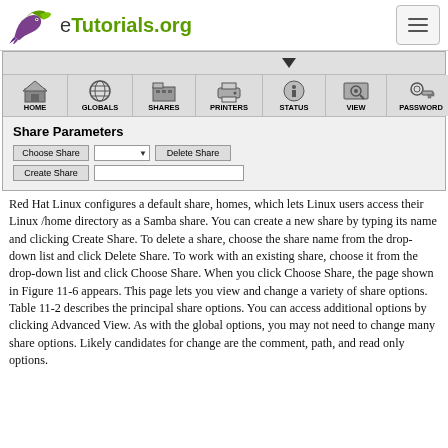eTutorials.org
[Figure (screenshot): Samba web administration tool showing navigation toolbar with icons: HOME, GLOBALS, SHARES, PRINTERS, STATUS, VIEW, PASSWORD, and a Share Parameters panel with Choose Share dropdown, Delete Share button, and Create Share button with text input.]
Red Hat Linux configures a default share, homes, which lets Linux users access their Linux /home directory as a Samba share. You can create a new share by typing its name and clicking Create Share. To delete a share, choose the share name from the drop-down list and click Delete Share. To work with an existing share, choose it from the drop-down list and click Choose Share. When you click Choose Share, the page shown in Figure 11-6 appears. This page lets you view and change a variety of share options. Table 11-2 describes the principal share options. You can access additional options by clicking Advanced View. As with the global options, you may not need to change many share options. Likely candidates for change are the comment, path, and read only options.